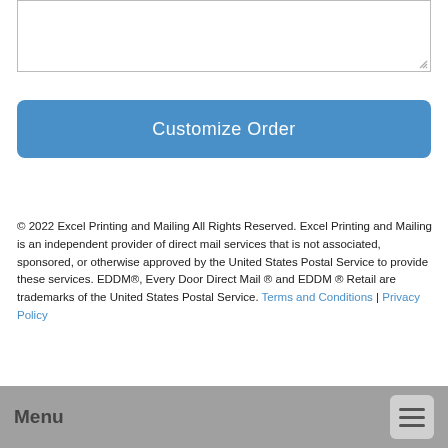[Figure (other): Text input textarea box with resize handle]
Customize Order
© 2022 Excel Printing and Mailing All Rights Reserved. Excel Printing and Mailing is an independent provider of direct mail services that is not associated, sponsored, or otherwise approved by the United States Postal Service to provide these services. EDDM®, Every Door Direct Mail ® and EDDM ® Retail are trademarks of the United States Postal Service. Terms and Conditions | Privacy Policy
Menu